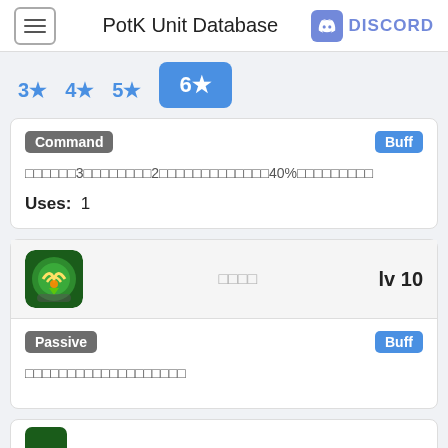PotK Unit Database | DISCORD
3★
4★
5★
6★
Command | Buff
[Japanese text] 3 [Japanese] 2 [Japanese] 40% [Japanese]
Uses: 1
[skill icon] [Japanese skill name] lv 10
Passive | Buff
[Japanese description text]